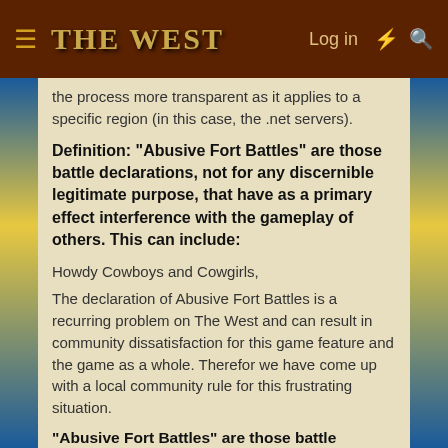The West — Log in
the process more transparent as it applies to a specific region (in this case, the .net servers).
Definition: "Abusive Fort Battles" are those battle declarations, not for any discernible legitimate purpose, that have as a primary effect interference with the gameplay of others. This can include:
Howdy Cowboys and Cowgirls,
The declaration of Abusive Fort Battles is a recurring problem on The West and can result in community dissatisfaction for this game feature and the game as a whole. Therefor we have come up with a local community rule for this frustrating situation.
"Abusive Fort Battles" are those battle declarations, not for any discernible legitimate purpose, that have as a primary effect interference with the gameplay of others. We GENERALLY consider a battle to be an AFB if: